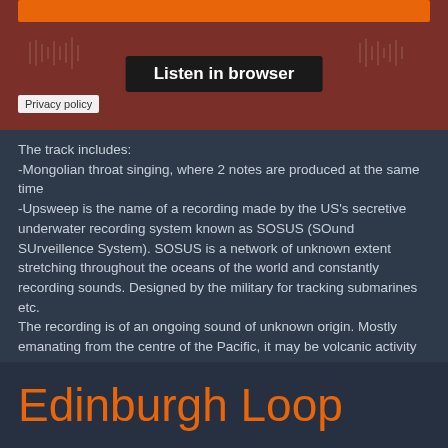[Figure (screenshot): Audio player widget with orange bar, waveform background, 'Listen in browser' button, and 'Privacy policy' label]
The track includes:
-Mongolian throat singing, where 2 notes are produced at the same time
-Upsweep is the name of a recording made by the US's secretive underwater recording system known as SOSUS (SOund SUrveillence System). SOSUS is a network of unknown extent stretching throughout the oceans of the world and constantly recording sounds. Designed by the military for tracking submarines etc.
The recording is of an ongoing sound of unknown origin. Mostly emanating from the centre of the Pacific, it may be volcanic activity or tectonic. Although it changes in sync with the seasons.
Click below to read more.
Read more
Edinburgh Loop